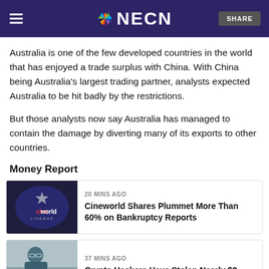NECN
Australia is one of the few developed countries in the world that has enjoyed a trade surplus with China. With China being Australia's largest trading partner, analysts expected Australia to be hit badly by the restrictions.
But those analysts now say Australia has managed to contain the damage by diverting many of its exports to other countries.
Money Report
[Figure (photo): Cineworld Cinemas logo on a dark background]
20 MINS AGO
Cineworld Shares Plummet More Than 60% on Bankruptcy Reports
[Figure (photo): Man working on laptop in café setting]
37 MINS AGO
Crypto Hackers Have Stolen Nearly $2